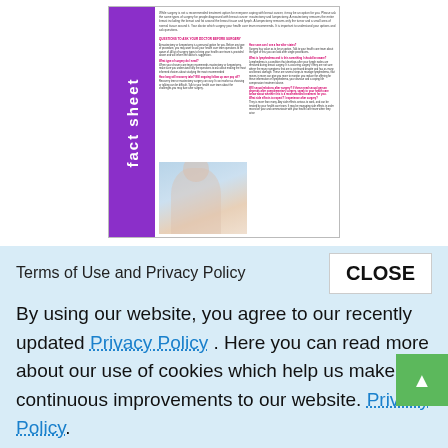[Figure (illustration): Thumbnail of a medical fact sheet publication with a purple sidebar reading 'fact sheet' rotated vertically, text columns in the body, and a photo of a woman in a white coat at the bottom left.]
Download a PDF (462 KB) of this publication or
Terms of Use and Privacy Policy
CLOSE
By using our website, you agree to our recently updated Privacy Policy . Here you can read more about our use of cookies which help us make continuous improvements to our website. Privacy Policy.
your general information only. It is not intended as medical